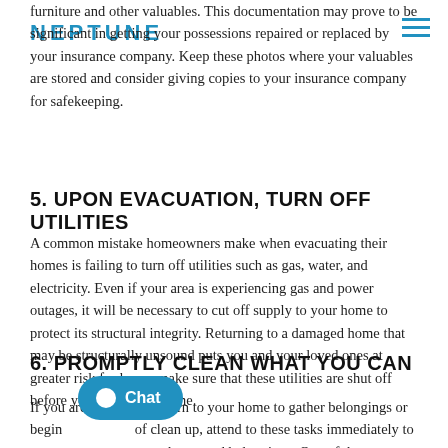NEPTUNE
furniture and other valuables. This documentation may prove to be significant in getting your possessions repaired or replaced by your insurance company. Keep these photos where your valuables are stored and consider giving copies to your insurance company for safekeeping.
5. UPON EVACUATION, TURN OFF UTILITIES
A common mistake homeowners make when evacuating their homes is failing to turn off utilities such as gas, water, and electricity. Even if your area is experiencing gas and power outages, it will be necessary to cut off supply to your home to protect its structural integrity. Returning to a damaged home that may be structurally unsound puts you and your loved ones at greater risk for harm; make sure that these utilities are shut off before you leave your home.
6. PROMPTLY CLEAN WHAT YOU CAN
If you are allowed to return to your home to gather belongings or begin the process of clean up, attend to these tasks immediately to prevent further damage to your home and belongings. One of the most potentially hazardous aftereffects of flooding is the development of mold and mildew, which can have significant